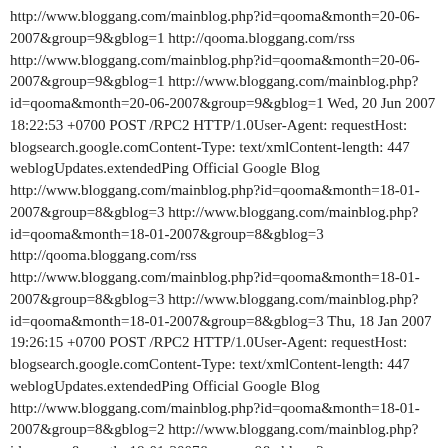http://www.bloggang.com/mainblog.php?id=qooma&month=20-06-2007&group=9&gblog=1 http://qooma.bloggang.com/rss http://www.bloggang.com/mainblog.php?id=qooma&month=20-06-2007&group=9&gblog=1 http://www.bloggang.com/mainblog.php?id=qooma&month=20-06-2007&group=9&gblog=1 Wed, 20 Jun 2007 18:22:53 +0700 POST /RPC2 HTTP/1.0User-Agent: requestHost: blogsearch.google.comContent-Type: text/xmlContent-length: 447 weblogUpdates.extendedPing Official Google Blog http://www.bloggang.com/mainblog.php?id=qooma&month=18-01-2007&group=8&gblog=3 http://www.bloggang.com/mainblog.php?id=qooma&month=18-01-2007&group=8&gblog=3 http://qooma.bloggang.com/rss http://www.bloggang.com/mainblog.php?id=qooma&month=18-01-2007&group=8&gblog=3 http://www.bloggang.com/mainblog.php?id=qooma&month=18-01-2007&group=8&gblog=3 Thu, 18 Jan 2007 19:26:15 +0700 POST /RPC2 HTTP/1.0User-Agent: requestHost: blogsearch.google.comContent-Type: text/xmlContent-length: 447 weblogUpdates.extendedPing Official Google Blog http://www.bloggang.com/mainblog.php?id=qooma&month=18-01-2007&group=8&gblog=2 http://www.bloggang.com/mainblog.php?id=qooma&month=18-01-2007&group=8&gblog=2 http://qooma.bloggang.com/rss http://www.bloggang.com/mainblog.php?id=qooma&month=18-